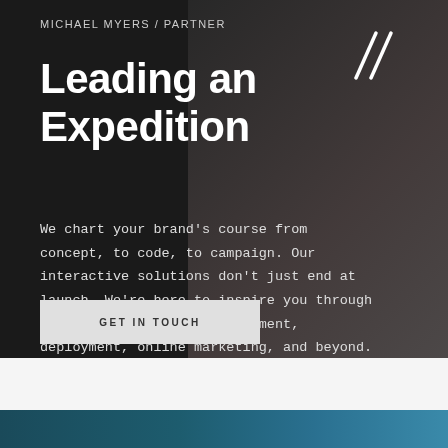MICHAEL MYERS / PARTNER
Leading an Expedition
We chart your brand's course from concept, to code, to campaign. Our interactive solutions don't just end at launch. We're here to inspire you through strategic planning, development, deployment, online marketing, and beyond. The journey begins with our first meeting.
GET IN TOUCH